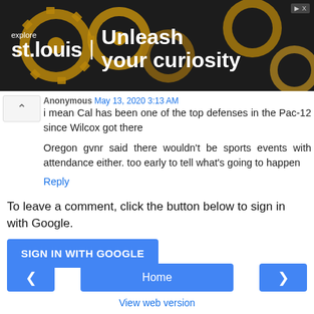[Figure (screenshot): Advertisement banner for 'explore st.louis | Unleash your curiosity' with golden gear background and close/skip buttons]
Anonymous May 13, 2020 3:13 AM
i mean Cal has been one of the top defenses in the Pac-12 since Wilcox got there
Oregon gvnr said there wouldn't be sports events with attendance either. too early to tell what's going to happen
Reply
To leave a comment, click the button below to sign in with Google.
SIGN IN WITH GOOGLE
Home
View web version